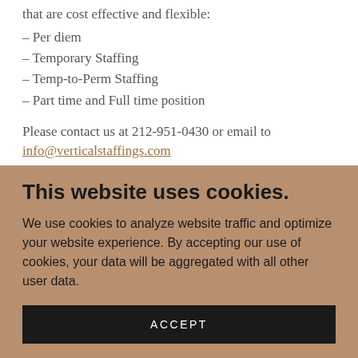that are cost effective and flexible:
– Per diem
– Temporary Staffing
– Temp-to-Perm Staffing
– Part time and Full time position
Please contact us at 212-951-0430 or email to info@verticalstaffings.com
• Eliminate the time and expense of interviewing and reading resumes.
This website uses cookies.
We use cookies to analyze website traffic and optimize your website experience. By accepting our use of cookies, your data will be aggregated with all other user data.
ACCEPT